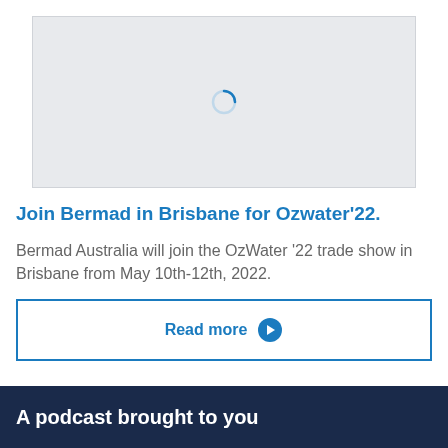[Figure (screenshot): Light gray image placeholder with a loading spinner icon in the center]
Join Bermad in Brisbane for Ozwater'22.
Bermad Australia will join the OzWater '22 trade show in Brisbane from May 10th-12th, 2022.
Read more →
A podcast brought to you